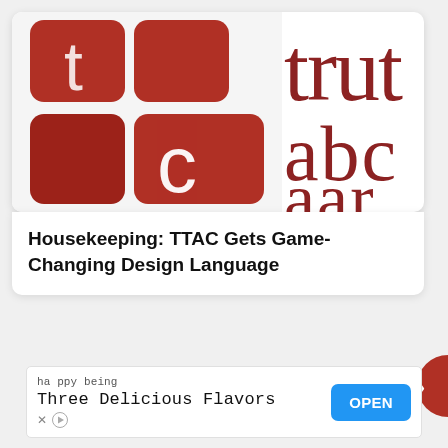[Figure (screenshot): Card with TTAC logo image showing red tiles with white letter C and large red text letters 'trut', 'abc', partially visible on right side on white background]
Housekeeping: TTAC Gets Game-Changing Design Language
[Figure (other): Red circular navigation arrow button pointing right, partially visible on right edge]
[Figure (other): Advertisement banner: 'happy being / Three Delicious Flavors' with OPEN button in blue]